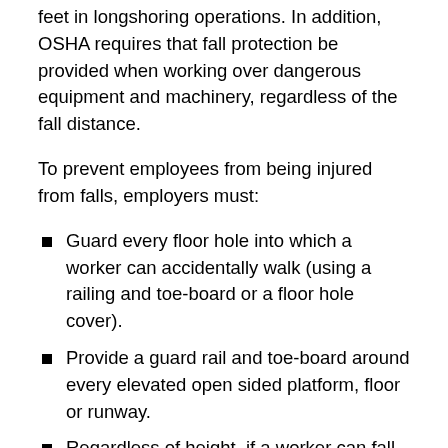feet in longshoring operations. In addition, OSHA requires that fall protection be provided when working over dangerous equipment and machinery, regardless of the fall distance.
To prevent employees from being injured from falls, employers must:
Guard every floor hole into which a worker can accidentally walk (using a railing and toe-board or a floor hole cover).
Provide a guard rail and toe-board around every elevated open sided platform, floor or runway.
Regardless of height, if a worker can fall into or onto dangerous machines or equipment (such as a vat of acid or a conveyor belt) employers must provide guardrails and toe-boards to prevent workers from